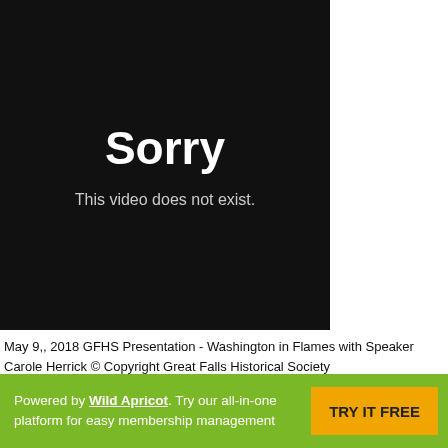[Figure (screenshot): Black video player error screen showing 'Sorry' in large bold white text and 'This video does not exist.' in smaller white text below.]
May 9,, 2018 GFHS Presentation - Washington in Flames with Speaker Carole Herrick © Copyright Great Falls Historical Society
Powered by Wild Apricot. Try our all-in-one platform for easy membership management